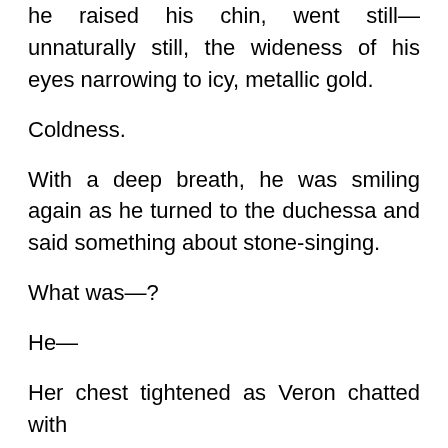No, no, no, no... She opened her mouth, but he raised his chin, went still—unnaturally still, the wideness of his eyes narrowing to icy, metallic gold.
Coldness.
With a deep breath, he was smiling again as he turned to the duchessa and said something about stone-singing.
What was—?
He—
Her chest tightened as Veron chatted with